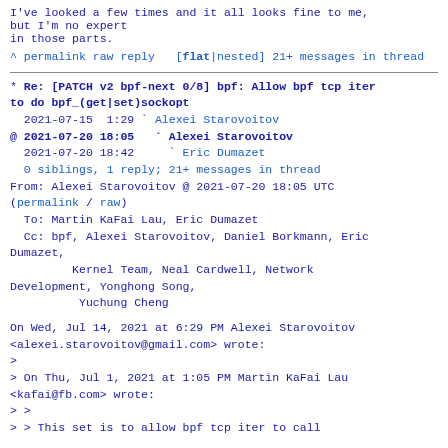I've looked a few times and it all looks fine to me, but I'm no expert
in those parts.
^ permalink raw reply  [flat|nested] 21+ messages in thread
* Re: [PATCH v2 bpf-next 0/8] bpf: Allow bpf tcp iter to do bpf_(get|set)sockopt
  2021-07-15  1:29 ` Alexei Starovoitov
@ 2021-07-20 18:05   ` Alexei Starovoitov
  2021-07-20 18:42     ` Eric Dumazet
  0 siblings, 1 reply; 21+ messages in thread
From: Alexei Starovoitov @ 2021-07-20 18:05 UTC
(permalink / raw)
  To: Martin KaFai Lau, Eric Dumazet
  Cc: bpf, Alexei Starovoitov, Daniel Borkmann, Eric Dumazet,
         Kernel Team, Neal Cardwell, Network Development, Yonghong Song,
          Yuchung Cheng
On Wed, Jul 14, 2021 at 6:29 PM Alexei Starovoitov
<alexei.starovoitov@gmail.com> wrote:
>
> On Thu, Jul 1, 2021 at 1:05 PM Martin KaFai Lau
<kafai@fb.com> wrote:
> >
> > This set is to allow bpf tcp iter to call